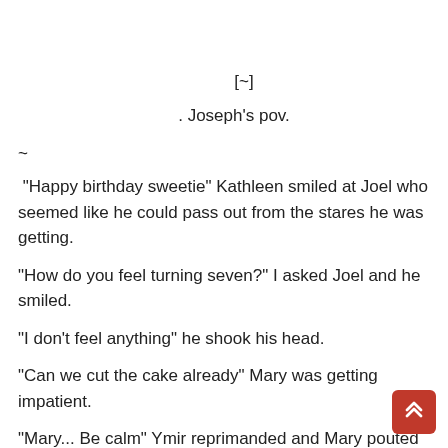[~]
. Joseph's pov.
~
"Happy birthday sweetie" Kathleen smiled at Joel who seemed like he could pass out from the stares he was getting.
"How do you feel turning seven?" I asked Joel and he smiled.
"I don't feel anything" he shook his head.
"Can we cut the cake already" Mary was getting impatient.
"Mary... Be calm" Ymir reprimanded and Mary pouted sitting down beside Joel, her eyes fixated on the cake.
"On your birthday you didn't... You didn't let.. Anyone... Anyone have your cake" Krystal, Ymir's daughter chimed in. She's five